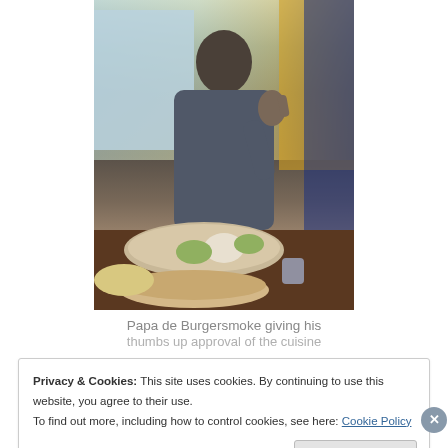[Figure (photo): A man sitting at a restaurant table giving a thumbs up, with plates of food in front of him. Restaurant chairs and colorful walls visible in background.]
Papa de Burgersmoke giving his thumbs up approval of the cuisine
Privacy & Cookies: This site uses cookies. By continuing to use this website, you agree to their use.
To find out more, including how to control cookies, see here: Cookie Policy